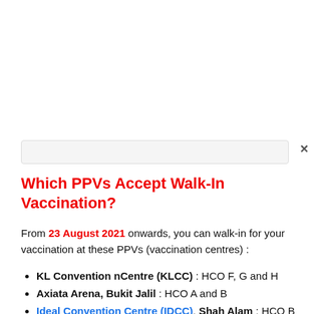Which PPVs Accept Walk-In Vaccination?
From 23 August 2021 onwards, you can walk-in for your vaccination at these PPVs (vaccination centres) :
KL Convention nCentre (KLCC) : HCO F, G and H
Axiata Arena, Bukit Jalil : HCO A and B
Ideal Convention Centre (IDCC), Shah Alam : HCO B
Bangi Avenue Convention Centre (BACC)
Hotel Wyndham Acmar Klang
Dewan Civic MBPJ (MBPJ Civic Centre), Petaling Jaya
Stadium Tertutup Kuala Selangor (Kuala Selangor Closed ...